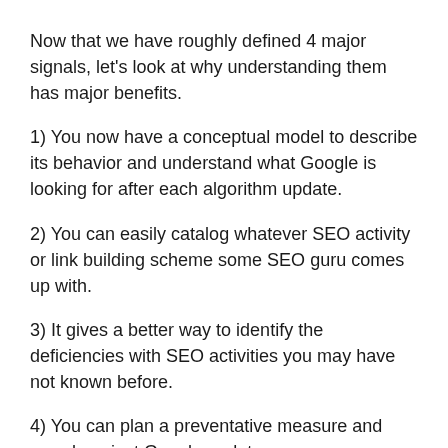Now that we have roughly defined 4 major signals, let's look at why understanding them has major benefits.
1) You now have a conceptual model to describe its behavior and understand what Google is looking for after each algorithm update.
2) You can easily catalog whatever SEO activity or link building scheme some SEO guru comes up with.
3) It gives a better way to identify the deficiencies with SEO activities you may have not known before.
4) You can plan a preventative measure and guard against Google updates.